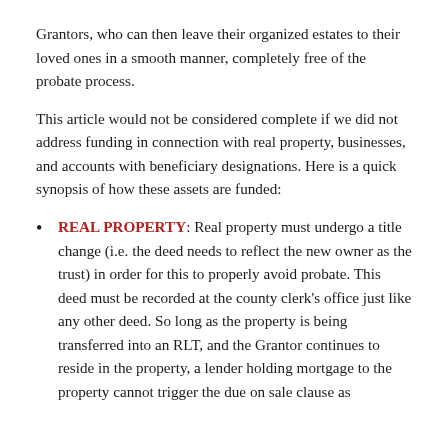Grantors, who can then leave their organized estates to their loved ones in a smooth manner, completely free of the probate process.
This article would not be considered complete if we did not address funding in connection with real property, businesses, and accounts with beneficiary designations. Here is a quick synopsis of how these assets are funded:
REAL PROPERTY: Real property must undergo a title change (i.e. the deed needs to reflect the new owner as the trust) in order for this to properly avoid probate. This deed must be recorded at the county clerk's office just like any other deed. So long as the property is being transferred into an RLT, and the Grantor continues to reside in the property, a lender holding mortgage to the property cannot trigger the due on sale clause as